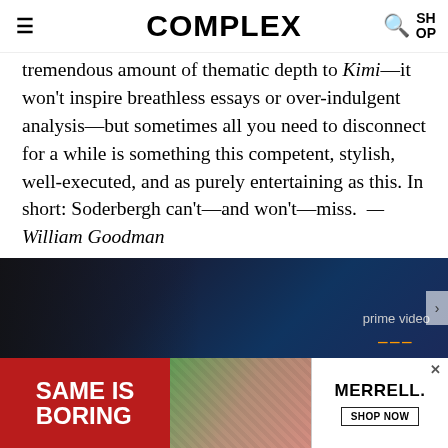COMPLEX
tremendous amount of thematic depth to Kimi—it won't inspire breathless essays or over-indulgent analysis—but sometimes all you need to disconnect for a while is something this competent, stylish, well-executed, and as purely entertaining as this. In short: Soderbergh can't—and won't—miss. —William Goodman
[Figure (photo): Amazon Prime Video advertisement banner with dark rainy background, and a bottom ad banner reading SAME IS BORING (red background) alongside MERRELL SHOP NOW]
[Figure (infographic): Advertisement banner: left red panel with SAME IS BORING text, middle panel with shoe imagery, right white panel with MERRELL and SHOP NOW button]